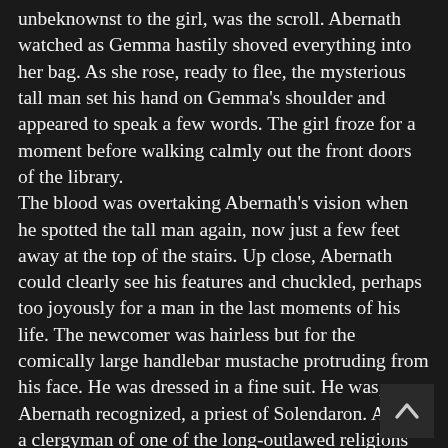unbeknownst to the girl, was the scroll. Abernath watched as Gemma hastily shoved everything into her bag. As she rose, ready to flee, the mysterious tall man set his hand on Gemma's shoulder and appeared to speak a few words. The girl froze for a moment before walking calmly out the front doors of the library. The blood was overtaking Abernath's vision when he spotted the tall man again, now just a few feet away at the top of the stairs. Up close, Abernath could clearly see his features and chuckled, perhaps too joyously for a man in the last moments of his life. The newcomer was hairless but for the comically large handlebar mustache protruding from his face. He was dressed in a fine suit. He was, Abernath recognized, a priest of Solendaron. And if a clergyman of one of the long-outlawed religions was making such a bold attack in Capital City, then perhaps redemption truly was close. Abernath's remaining eye closed for good, but his other senses still worked for a few more moments. He heard